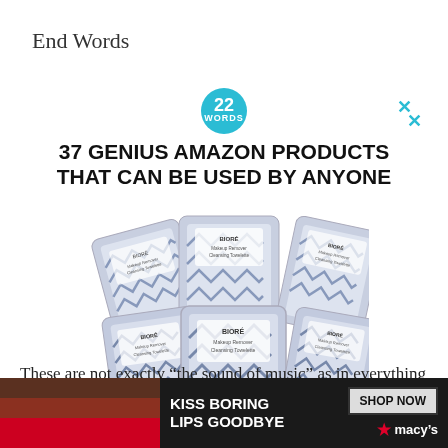End Words
[Figure (screenshot): Advertisement banner: '37 Genius Amazon Products That Can Be Used By Anyone' with a '22 Words' teal badge and product image of makeup remover wipe packages with blue geometric pattern. Close X button in top right.]
These are not exactly “the sound of music” as in everything is musical and enjoyable. Rather cause
[Figure (screenshot): Bottom banner advertisement for Macy's: 'KISS BORING LIPS GOODBYE' with a woman's lips image and 'SHOP NOW' button with Macy's star logo.]